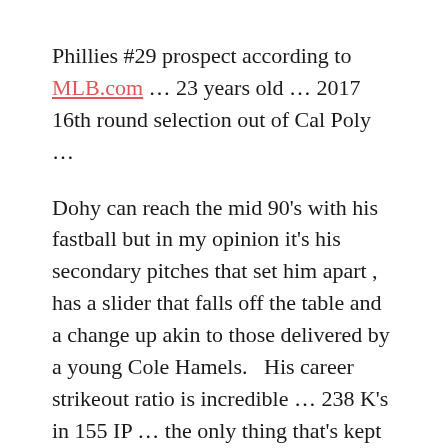Phillies #29 prospect according to MLB.com … 23 years old … 2017 16th round selection out of Cal Poly …
Dohy can reach the mid 90's with his fastball but in my opinion it's his secondary pitches that set him apart , has a slider that falls off the table and a change up akin to those delivered by a young Cole Hamels.   His career strikeout ratio is incredible … 238 K's in 155 IP … the only thing that's kept him out of the show to date is control … 121 free passes.  The stuff is electric though … whenever we've seen him pitch we have always been